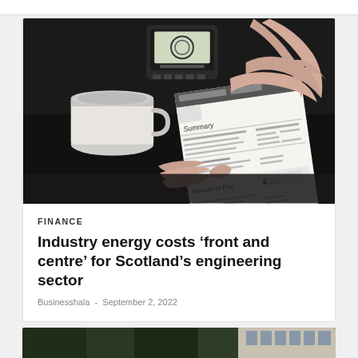[Figure (photo): Person holding an energy bill document with a mug nearby and a smart meter display visible in the background on a dark table]
FINANCE
Industry energy costs 'front and centre' for Scotland's engineering sector
Businesshala - September 2, 2022
[Figure (photo): Partial view of a second article image showing green foliage and building facade]